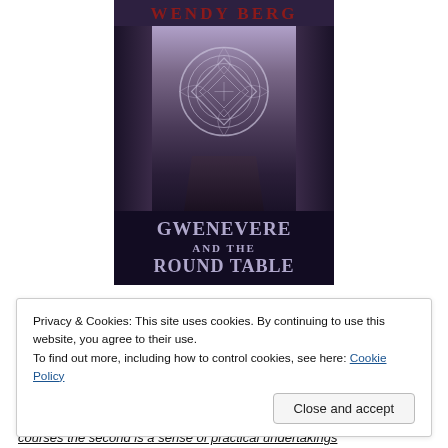[Figure (illustration): Book cover for 'Gwenevere and the Round Table' by Wendy Berg. Shows a mystical forest path with a Celtic knotwork symbol in the center, purple/dark tones, with the author name at the top in red and the book title at the bottom in silver/lavender text on dark background.]
Privacy & Cookies: This site uses cookies. By continuing to use this website, you agree to their use.
To find out more, including how to control cookies, see here: Cookie Policy
Close and accept
courses the second is a sense of practical undertakings